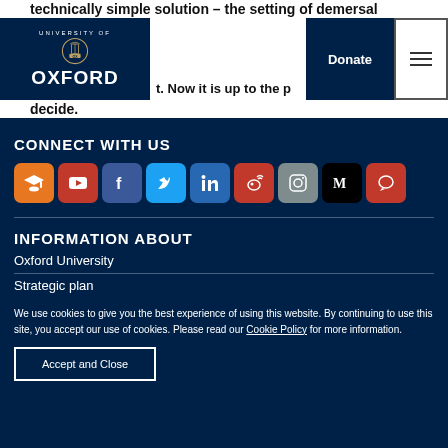technically simple solution – the setting of demersal … Now it is up to the p… decide.
[Figure (logo): University of Oxford logo with crest and wordmark on dark blue background]
CONNECT WITH US
[Figure (infographic): Row of social media icons: Oxford (graduation cap), YouTube, Facebook, Twitter, LinkedIn, Weibo, Instagram, Medium, Chat]
INFORMATION ABOUT
Oxford University
Strategic plan
Oxford's research
We use cookies to give you the best experience of using this website. By continuing to use this site, you accept our use of cookies. Please read our Cookie Policy for more information.
Accept and Close